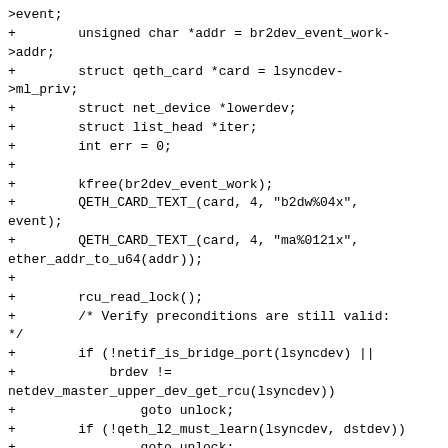>event;
+        unsigned char *addr = br2dev_event_work->addr;
+        struct qeth_card *card = lsyncdev->ml_priv;
+        struct net_device *lowerdev;
+        struct list_head *iter;
+        int err = 0;
+
+        kfree(br2dev_event_work);
+        QETH_CARD_TEXT_(card, 4, "b2dw%04x", event);
+        QETH_CARD_TEXT_(card, 4, "ma%0121x", ether_addr_to_u64(addr));
+
+        rcu_read_lock();
+        /* Verify preconditions are still valid: */
+        if (!netif_is_bridge_port(lsyncdev) ||
+            brdev != netdev_master_upper_dev_get_rcu(lsyncdev))
+                goto unlock;
+        if (!qeth_l2_must_learn(lsyncdev, dstdev))
+                goto unlock;
+
+        if (br_port_flag_is_set(lsyncdev, BR_ISOLATED)) {
+            /* Update lsyncdev and its isolated sibling(s): */
+                iter = &brdev->adj_list.lower;